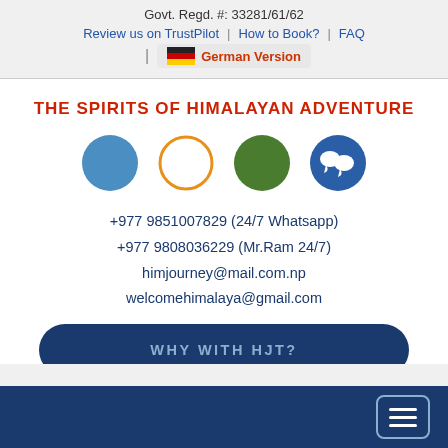Govt. Regd. #: 33281/61/62
Review us on TrustPilot | How to Book? | FAQ
German Version
THE SPIRITS OF HIMALAYAN ADVENTURE
[Figure (illustration): Four social media / contact icons: blue filled circle, orange outline circle, green filled circle, blue filled circle with chat bubbles]
+977 9851007829 (24/7 Whatsapp)
+977 9808036229 (Mr.Ram 24/7)
himjourney@mail.com.np
welcomehimalaya@gmail.com
WHY WITH HJT?